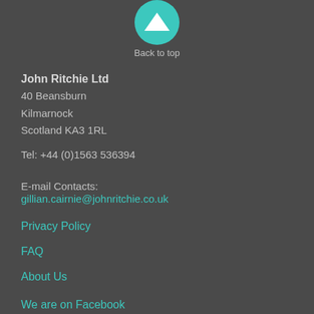[Figure (other): Teal circular back-to-top button with upward pointing white triangle/arrow icon]
Back to top
John Ritchie Ltd
40 Beansburn
Kilmarnock
Scotland KA3 1RL

Tel: +44 (0)1563 536394
E-mail Contacts:
gillian.cairnie@johnritchie.co.uk
Privacy Policy
FAQ
About Us
We are on Facebook